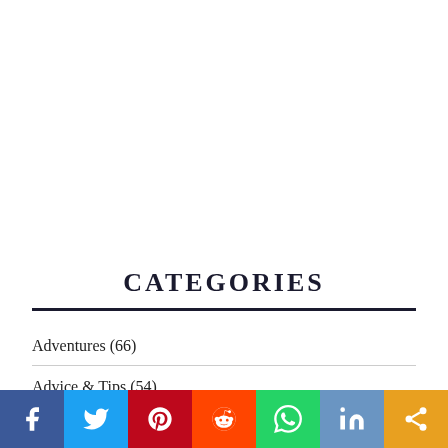CATEGORIES
Adventures (66)
Advice & Tips (54)
[Figure (infographic): Social media sharing bar with icons for Facebook, Twitter, Pinterest, Reddit, WhatsApp, Instagram, and a generic share button]